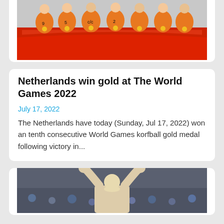[Figure (photo): Netherlands korfball team in orange jerseys with gold medals holding a red banner/flag, celebrating their World Games 2022 victory]
Netherlands win gold at The World Games 2022
July 17, 2022
The Netherlands have today (Sunday, Jul 17, 2022) won an tenth consecutive World Games korfball gold medal following victory in...
[Figure (photo): Athlete with arms raised in celebration, crowd visible in background]